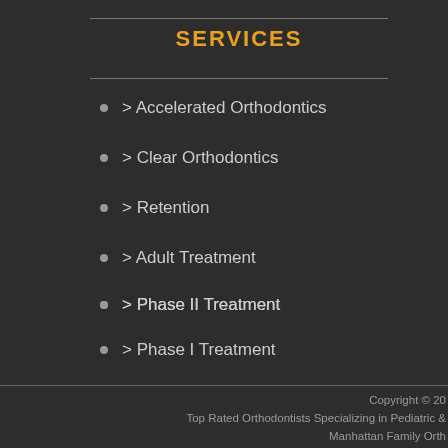SERVICES
> Accelerated Orthodontics
> Clear Orthodontics
> Retention
> Adult Treatment
> Phase II Treatment
> Phase I Treatment
Copyright © 20
Top Rated Orthodontists Specializing in Pediatric &
Manhattan Family Orth
Uptown - 133 East 58th Street Su
Downtown - 11 Fifth Avenue Su
Terms
Marketing & Des
Vi